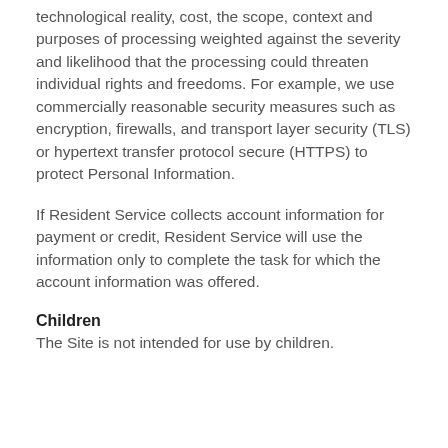technological reality, cost, the scope, context and purposes of processing weighted against the severity and likelihood that the processing could threaten individual rights and freedoms. For example, we use commercially reasonable security measures such as encryption, firewalls, and transport layer security (TLS) or hypertext transfer protocol secure (HTTPS) to protect Personal Information.
If Resident Service collects account information for payment or credit, Resident Service will use the information only to complete the task for which the account information was offered.
Children
The Site is not intended for use by children.